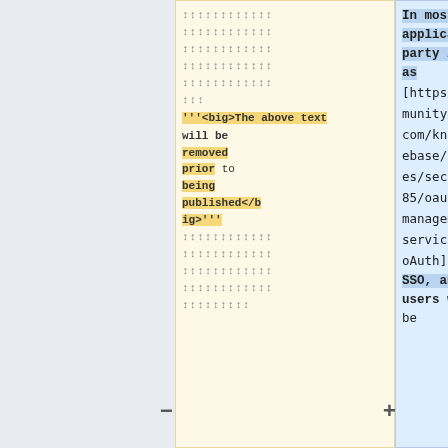Left panel (yellow): rows of arrows/carets, then text: '''<big>The above text will be removed prior to being published</big>''', followed by more arrow rows
Right panel (blue): In most of the use cases, applications can use third party login services, such as [https://community.pega.com/knowledgebase/articles/security/85/oauth-20-management-services oAuth] or SSO, and users will be